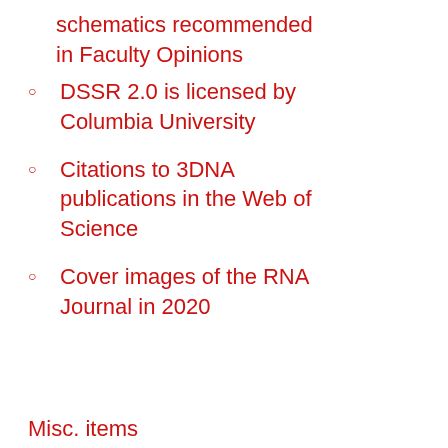schematics recommended in Faculty Opinions
DSSR 2.0 is licensed by Columbia University
Citations to 3DNA publications in the Web of Science
Cover images of the RNA Journal in 2020
Misc. items